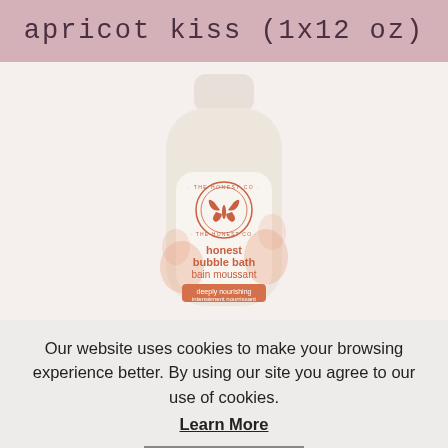apricot kiss (1x12 oz)
[Figure (photo): The Honest Co. Honest Bubble Bath / Bain Moussant bottle in apricot kiss scent, 12 oz, with coral/orange floral design and 'deeply nourishing / intensément nourrissant' label band]
Our website uses cookies to make your browsing experience better. By using our site you agree to our use of cookies.
Learn More
I Agree